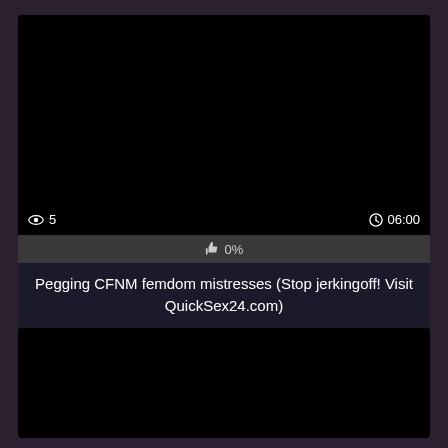[Figure (screenshot): Black video thumbnail with view count '5' and duration '06:00' displayed at bottom]
👍 0%
Pegging CFNM femdom mistresses (Stop jerkingoff! Visit QuickSex24.com)
[Figure (screenshot): Black thumbnail image below the title]